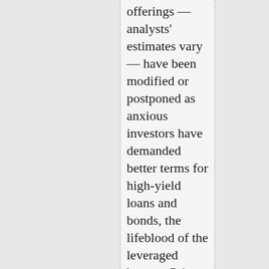offerings — analysts' estimates vary — have been modified or postponed as anxious investors have demanded better terms for high-yield loans and bonds, the lifeblood of the leveraged buyout. Private equity firms have had to raise interest rates and sweeten the